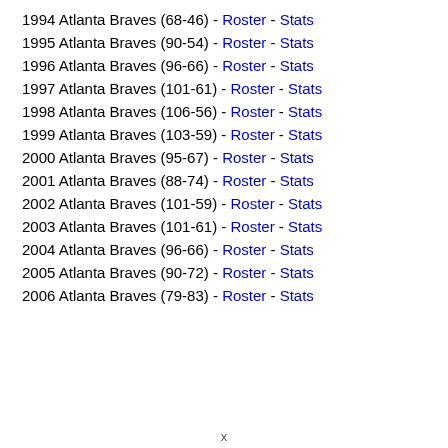1994 Atlanta Braves (68-46) - Roster - Stats
1995 Atlanta Braves (90-54) - Roster - Stats
1996 Atlanta Braves (96-66) - Roster - Stats
1997 Atlanta Braves (101-61) - Roster - Stats
1998 Atlanta Braves (106-56) - Roster - Stats
1999 Atlanta Braves (103-59) - Roster - Stats
2000 Atlanta Braves (95-67) - Roster - Stats
2001 Atlanta Braves (88-74) - Roster - Stats
2002 Atlanta Braves (101-59) - Roster - Stats
2003 Atlanta Braves (101-61) - Roster - Stats
2004 Atlanta Braves (96-66) - Roster - Stats
2005 Atlanta Braves (90-72) - Roster - Stats
2006 Atlanta Braves (79-83) - Roster - Stats
x